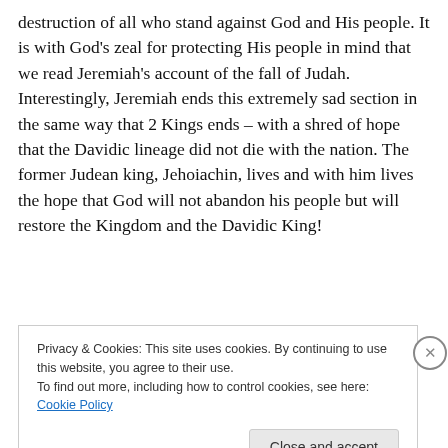destruction of all who stand against God and His people. It is with God's zeal for protecting His people in mind that we read Jeremiah's account of the fall of Judah. Interestingly, Jeremiah ends this extremely sad section in the same way that 2 Kings ends – with a shred of hope that the Davidic lineage did not die with the nation. The former Judean king, Jehoiachin, lives and with him lives the hope that God will not abandon his people but will restore the Kingdom and the Davidic King!
[Figure (screenshot): A blue 'Apply' button and a partial photo of a person]
Privacy & Cookies: This site uses cookies. By continuing to use this website, you agree to their use.
To find out more, including how to control cookies, see here: Cookie Policy
Close and accept